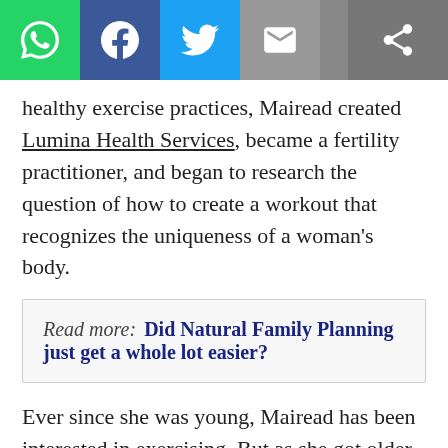[Figure (screenshot): Social media share bar with WhatsApp, Facebook, Twitter, Email, and general share buttons]
healthy exercise practices, Mairead created Lumina Health Services, became a fertility practitioner, and began to research the question of how to create a workout that recognizes the uniqueness of a woman’s body.
Read more:  Did Natural Family Planning just get a whole lot easier?
Ever since she was young, Mairead has been interested in exercising. But as she got older, she noticed it was difficult to get through a workout routine. Then she began to notice a pattern. “Usually those disinterested feelings crop up around the same time every month,” she said. “The more I thought about it, the more I believed there must be something to it, I’d have to do some research of this…”